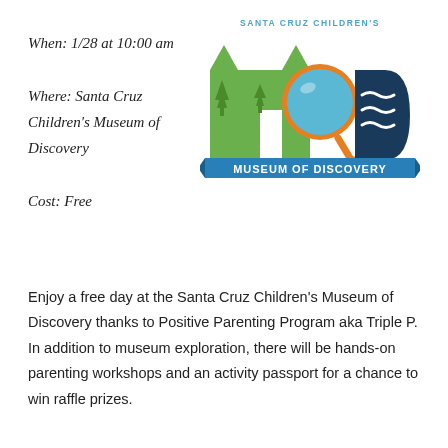When: 1/28 at 10:00 am
Where: Santa Cruz Children's Museum of Discovery
Cost: Free
[Figure (logo): Santa Cruz Children's Museum of Discovery logo featuring a green M shape with trees, a blue circular magnifying lens, and a dark blue D shape with wave lines, on a blue banner reading MUSEUM OF DISCOVERY]
Enjoy a free day at the Santa Cruz Children's Museum of Discovery thanks to Positive Parenting Program aka Triple P. In addition to museum exploration, there will be hands-on parenting workshops and an activity passport for a chance to win raffle prizes.